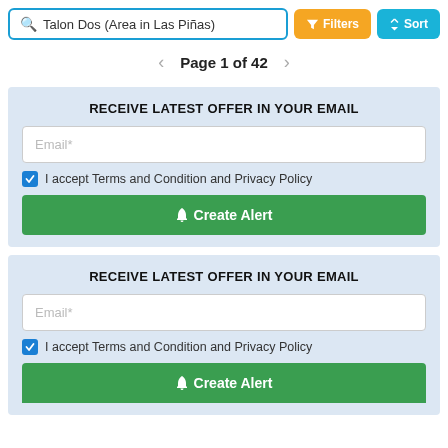Q Talon Dos (Area in Las Piñas) | Filters | Sort
Page 1 of 42
RECEIVE LATEST OFFER IN YOUR EMAIL
Email*
I accept Terms and Condition and Privacy Policy
Create Alert
RECEIVE LATEST OFFER IN YOUR EMAIL
Email*
I accept Terms and Condition and Privacy Policy
Create Alert